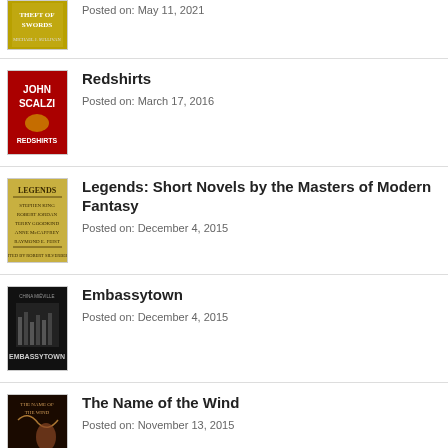[Figure (illustration): Partial book cover for Theft of Swords at top of page, cropped]
Posted on: May 11, 2021
[Figure (illustration): Book cover for Redshirts by John Scalzi - red background with author name]
Redshirts
Posted on: March 17, 2016
[Figure (illustration): Book cover for Legends: Short Novels by the Masters of Modern Fantasy - gold/yellow background]
Legends: Short Novels by the Masters of Modern Fantasy
Posted on: December 4, 2015
[Figure (illustration): Book cover for Embassytown by China Mieville - dark/black background with city image]
Embassytown
Posted on: December 4, 2015
[Figure (illustration): Book cover for The Name of the Wind - dark background with figure]
The Name of the Wind
Posted on: November 13, 2015